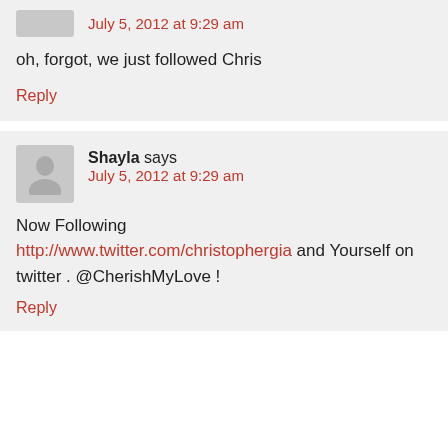July 5, 2012 at 9:29 am
oh, forgot, we just followed Chris
Reply
Shayla says
July 5, 2012 at 9:29 am
Now Following http://www.twitter.com/christophergia and Yourself on twitter . @CherishMyLove !
Reply